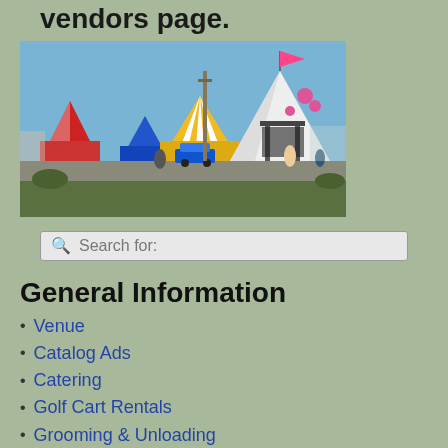vendors page.
[Figure (photo): Outdoor vendor fair with colorful tents including red, blue, yellow striped, and white tents with a pink flag on top. People walking around and a blue golf cart visible.]
Search for:
General Information
Venue
Catalog Ads
Catering
Golf Cart Rentals
Grooming & Unloading
Hotels
Obedience Stewards
Parking Regulations
Vendors